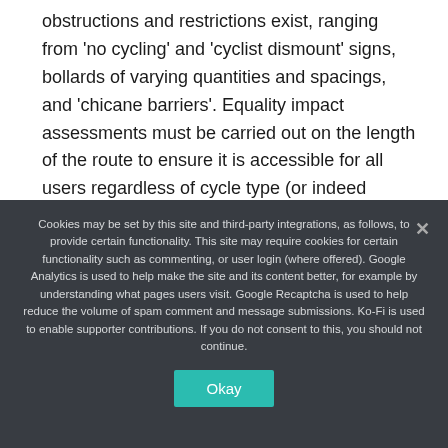obstructions and restrictions exist, ranging from 'no cycling' and 'cyclist dismount' signs, bollards of varying quantities and spacings, and 'chicane barriers'. Equality impact assessments must be carried out on the length of the route to ensure it is accessible for all users regardless of cycle type (or indeed mobility scooters, wheelchairs
Cookies may be set by this site and third-party integrations, as follows, to provide certain functionality. This site may require cookies for certain functionality such as commenting, or user login (where offered). Google Analytics is used to help make the site and its content better, for example by understanding what pages users visit. Google Recaptcha is used to help reduce the volume of spam comment and message submissions. Ko-Fi is used to enable supporter contributions. If you do not consent to this, you should not continue.